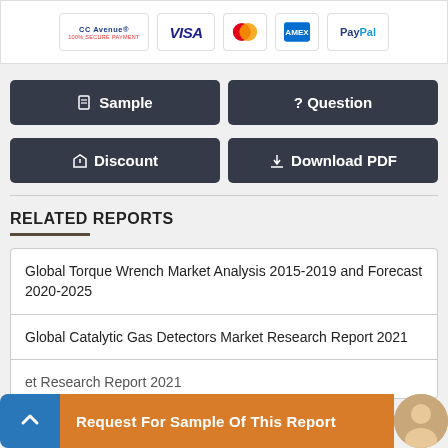[Figure (logo): Payment logos: CCAvenue 100% Secure Payment, VISA, Mastercard, American Express, PayPal]
Sample
? Question
Discount
Download PDF
RELATED REPORTS
Global Torque Wrench Market Analysis 2015-2019 and Forecast 2020-2025
Global Catalytic Gas Detectors Market Research Report 2021
[partially visible] et Research Report 2021
Request For Sample Of This Report